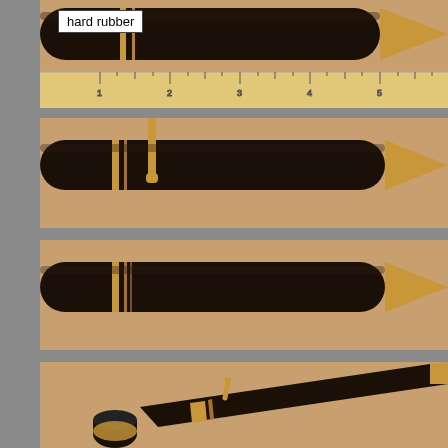[Figure (photo): Black hard rubber pen with gold trim shown horizontally next to a ruler, with a label reading 'hard rubber'. Top portion of pen visible.]
[Figure (photo): Black hard rubber pen with gold trim and pocket clip, shown horizontally on tan/peach background.]
[Figure (photo): Black hard rubber pen with gold trim bands near cap, shown horizontally on tan/peach background without clip.]
[Figure (photo): Black hard rubber pen shown at an angle with cap removed, both pieces visible on tan/peach background.]